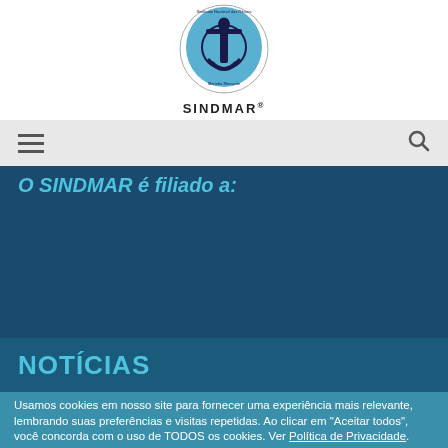[Figure (logo): SINDMAR - Sindicato Nacional dos Oficiais da Marinha Mercante logo with anchor emblem and circular badge]
[Figure (infographic): Navigation bar with hamburger menu icon on left and search icon on right on light gray background]
O SINDMAR é filiado a:
[Figure (logo): Three affiliate logos: CONTIMAF (circular emblem), FNTTAA (dark blue background with anchor), CTB - Central dos Trabalhadores e Trabalhadoras do Brasil (orange and red)]
NOTÍCIAS
Usamos cookies em nosso site para fornecer uma experiência mais relevante, lembrando suas preferências e visitas repetidas. Ao clicar em "Aceitar todos", você concorda com o uso de TODOS os cookies. Ver Política de Privacidade.
Aceitar Todos
ou
Rejeitar